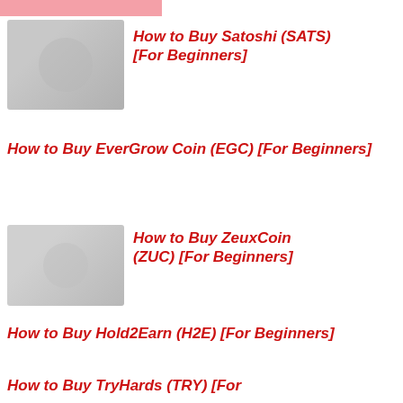[Figure (illustration): Pink/red top bar graphic at top of page]
How to Buy Satoshi (SATS) [For Beginners]
How to Buy EverGrow Coin (EGC) [For Beginners]
How to Buy ZeuxCoin (ZUC) [For Beginners]
How to Buy Hold2Earn (H2E) [For Beginners]
How to Buy TryHards (TRY) [For